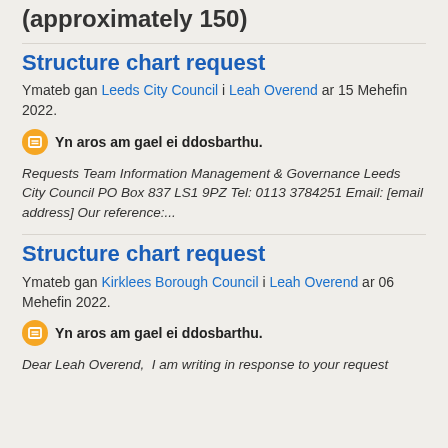(approximately 150)
Structure chart request
Ymateb gan Leeds City Council i Leah Overend ar 15 Mehefin 2022.
Yn aros am gael ei ddosbarthu.
Requests Team Information Management & Governance Leeds City Council PO Box 837 LS1 9PZ Tel: 0113 3784251 Email: [email address] Our reference:...
Structure chart request
Ymateb gan Kirklees Borough Council i Leah Overend ar 06 Mehefin 2022.
Yn aros am gael ei ddosbarthu.
Dear Leah Overend,  I am writing in response to your request